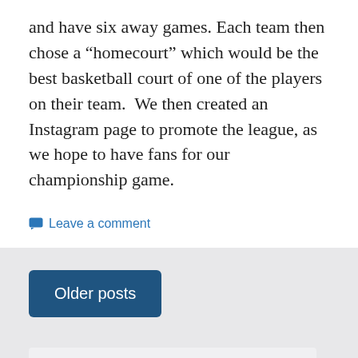and have six away games. Each team then chose a “homecourt” which would be the best basketball court of one of the players on their team.  We then created an Instagram page to promote the league, as we hope to have fans for our championship game.
Leave a comment
Older posts
Search ...